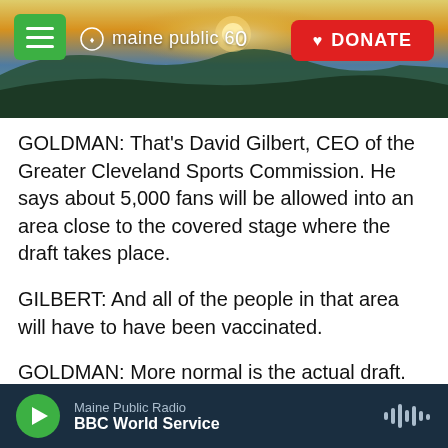[Figure (screenshot): Maine Public Radio website header with landscape photo (sunset over hills/lake), green hamburger menu button, Maine Public 60 logo in white, and red DONATE button]
GOLDMAN: That's David Gilbert, CEO of the Greater Cleveland Sports Commission. He says about 5,000 fans will be allowed into an area close to the covered stage where the draft takes place.
GILBERT: And all of the people in that area will have to have been vaccinated.
GOLDMAN: More normal is the actual draft. There will be 13 NFL prospects at the event. They'll hear their names called, come up on stage and, as in past years, hug, high five or chest bump league commissioner Roger Goodell. He's been
Maine Public Radio  BBC World Service